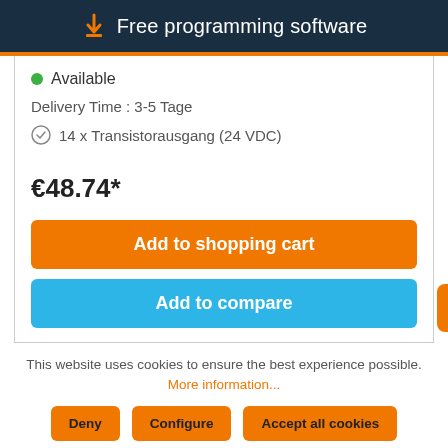Free programming software
Available
Delivery Time : 3-5 Tage
14 x Transistorausgang (24 VDC)
€48.74*
Add to shopping cart
Add to compare
This website uses cookies to ensure the best experience possible. More information...
Deny
Configure
Accept all cookies